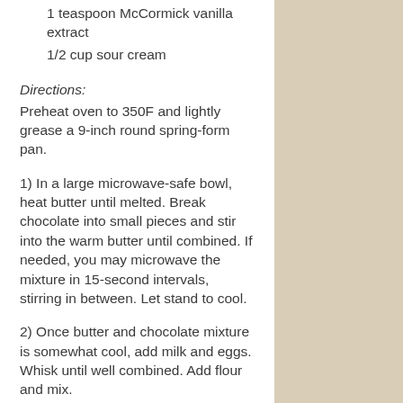1 teaspoon McCormick vanilla extract
1/2 cup sour cream
Directions:
Preheat oven to 350F and lightly grease a 9-inch round spring-form pan.
1) In a large microwave-safe bowl, heat butter until melted. Break chocolate into small pieces and stir into the warm butter until combined. If needed, you may microwave the mixture in 15-second intervals, stirring in between. Let stand to cool.
2) Once butter and chocolate mixture is somewhat cool, add milk and eggs. Whisk until well combined. Add flour and mix.
3) Pour mixture into prepared spring-